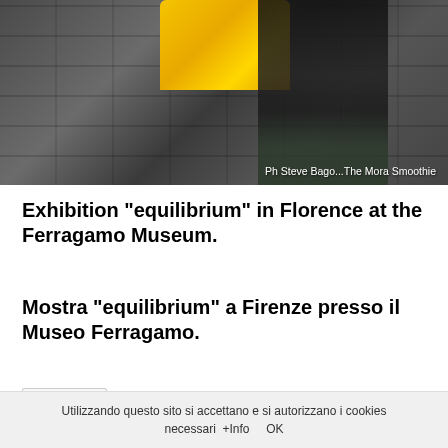[Figure (photo): Person carrying a large yellow bag against a stone wall background]
Ph Steve Bago...The Mora Smoothie
Exhibition "equilibrium" in Florence at the Ferragamo Museum.
Mostra "equilibrium" a Firenze presso il Museo Ferragamo.
Utilizzando questo sito si accettano e si autorizzano i cookies necessari  +Info      OK